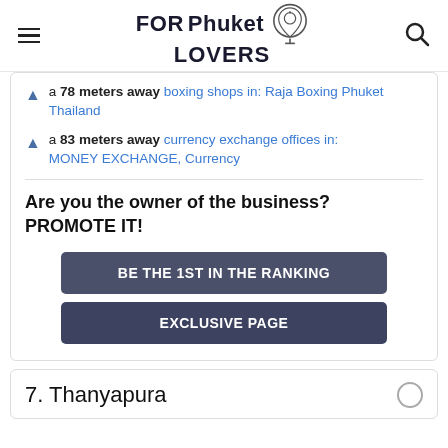FORPhuket LOVERS
a 78 meters away boxing shops in: Raja Boxing Phuket Thailand
a 83 meters away currency exchange offices in: MONEY EXCHANGE, Currency
Are you the owner of the business? PROMOTE IT!
BE THE 1ST IN THE RANKING
EXCLUSIVE PAGE
7. Thanyapura